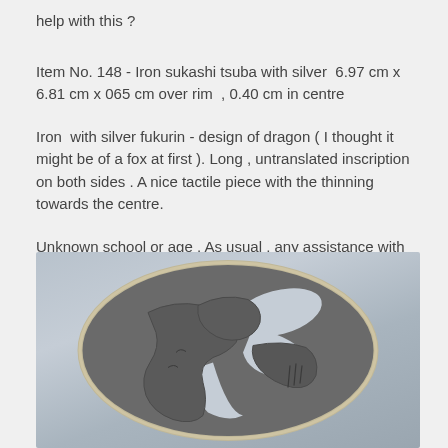help with this ?
Item No. 148 - Iron sukashi tsuba with silver  6.97 cm x 6.81 cm x 065 cm over rim  , 0.40 cm in centre
Iron  with silver fukurin - design of dragon ( I thought it might be of a fox at first ). Long , untranslated inscription on both sides . A nice tactile piece with the thinning towards the centre.
Unknown school or age . As usual , any assistance with this would be greatly appreciated.
[Figure (photo): Close-up photograph of an iron sukashi tsuba (Japanese sword guard) with silver fukurin rim, showing a dragon design with cut-through (sukashi) openwork pattern and inscription, on a light blue-grey background.]